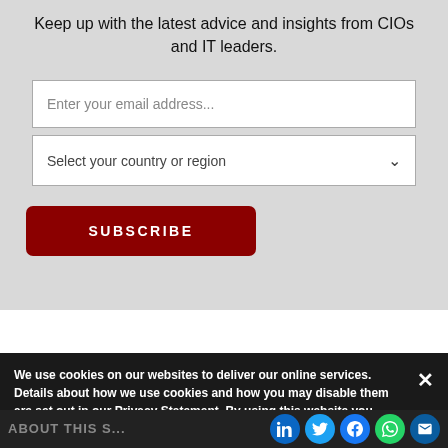Keep up with the latest advice and insights from CIOs and IT leaders.
Enter your email address...
Select your country or region
SUBSCRIBE
We use cookies on our websites to deliver our online services. Details about how we use cookies and how you may disable them are set out in our Privacy Statement. By using this website you agree to our use of cookies.
ABOUT THIS S...
The Enterprisers P...